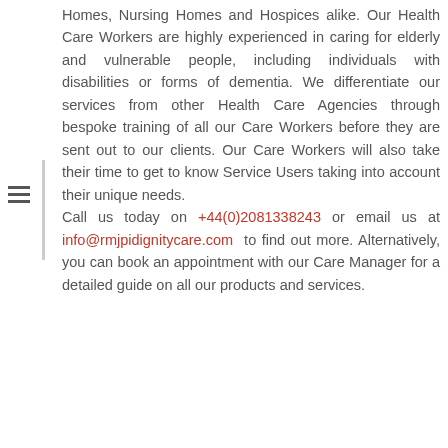Homes, Nursing Homes and Hospices alike. Our Health Care Workers are highly experienced in caring for elderly and vulnerable people, including individuals with disabilities or forms of dementia. We differentiate our services from other Health Care Agencies through bespoke training of all our Care Workers before they are sent out to our clients. Our Care Workers will also take their time to get to know Service Users taking into account their unique needs. Call us today on +44(0)2081338243 or email us at info@rmjpidignitycare.com to find out more. Alternatively, you can book an appointment with our Care Manager for a detailed guide on all our products and services.